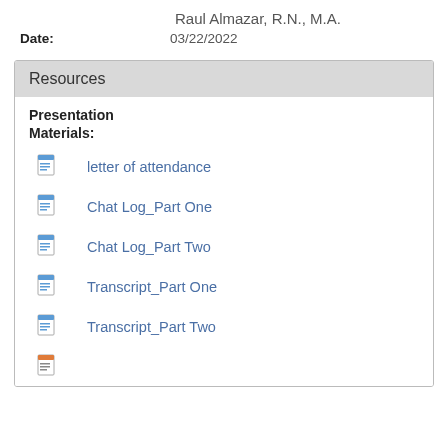Raul Almazar, R.N., M.A.
Date: 03/22/2022
Resources
Presentation Materials:
letter of attendance
Chat Log_Part One
Chat Log_Part Two
Transcript_Part One
Transcript_Part Two